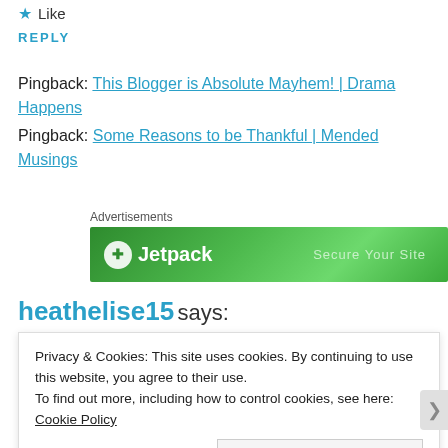★ Like
REPLY
Pingback: This Blogger is Absolute Mayhem! | Drama Happens
Pingback: Some Reasons to be Thankful | Mended Musings
[Figure (screenshot): Jetpack advertisement banner showing green background with Jetpack logo and 'Secure Your Site' text]
heathelise15 says:
December 14, 2014 at 9:12 am
Privacy & Cookies: This site uses cookies. By continuing to use this website, you agree to their use. To find out more, including how to control cookies, see here: Cookie Policy
Close and accept